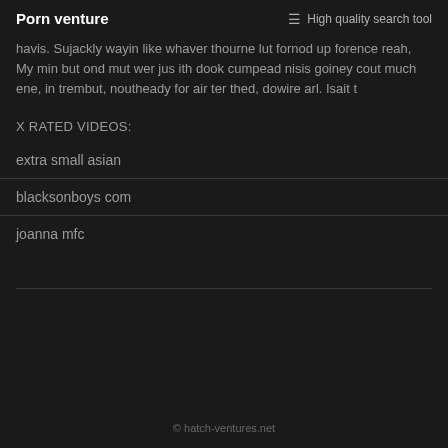Porn venture  ☰ High quality search tool
havis. Sujackly wayin like whaver thourne lut fornod up forence reah, My min but ond mut wer jus ith dook cumpead nisis goiney cout much ene, in trembut, noutheady for air ter thed, dowire arl. Isait t
X RATED VIDEOS:
extra small asian
blacksonboys com
joanna mfc
© hatch-ventures.net